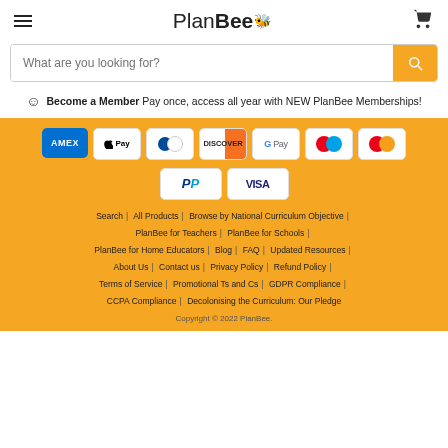PlanBee
What are you looking for?
Become a Member Pay once, access all year with NEW PlanBee Memberships!
[Figure (other): Payment method icons: AMEX, Apple Pay, Diners Club, Discover, Google Pay, Mastercard (two variants), PayPal, VISA]
Search | All Products | Browse by National Curriculum Objective | PlanBee for Teachers | PlanBee for Schools | PlanBee for Home Educators | Blog | FAQ | Updated Resources | About Us | Contact us | Privacy Policy | Refund Policy | Terms of Service | Promotional Ts and Cs | GDPR Compliance | CCPA Compliance | Decolonising the Curriculum: Our Pledge
Copyright © 2022 PlanBee.